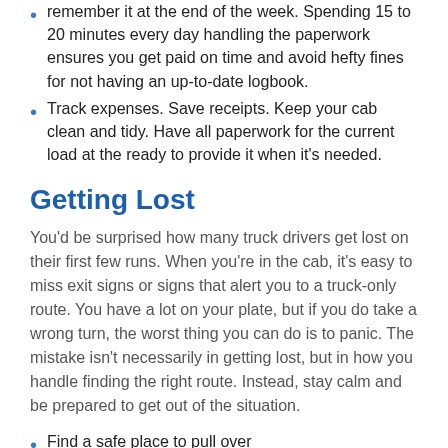remember it at the end of the week. Spending 15 to 20 minutes every day handling the paperwork ensures you get paid on time and avoid hefty fines for not having an up-to-date logbook.
Track expenses. Save receipts. Keep your cab clean and tidy. Have all paperwork for the current load at the ready to provide it when it's needed.
Getting Lost
You'd be surprised how many truck drivers get lost on their first few runs. When you're in the cab, it's easy to miss exit signs or signs that alert you to a truck-only route. You have a lot on your plate, but if you do take a wrong turn, the worst thing you can do is to panic. The mistake isn't necessarily in getting lost, but in how you handle finding the right route. Instead, stay calm and be prepared to get out of the situation.
Find a safe place to pull over
Check the GPS and make sure the address is entered correctly